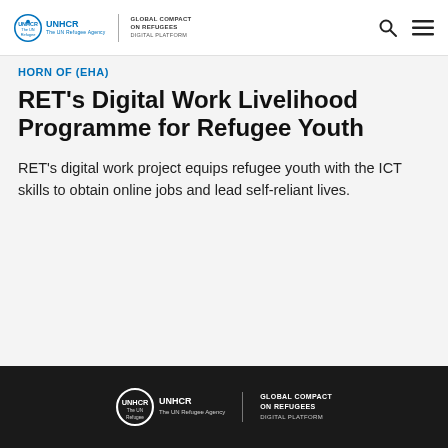UNHCR | GLOBAL COMPACT ON REFUGEES DIGITAL PLATFORM
HORN OF (EHA)
RET's Digital Work Livelihood Programme for Refugee Youth
RET's digital work project equips refugee youth with the ICT skills to obtain online jobs and lead self-reliant lives.
UNHCR | GLOBAL COMPACT ON REFUGEES DIGITAL PLATFORM